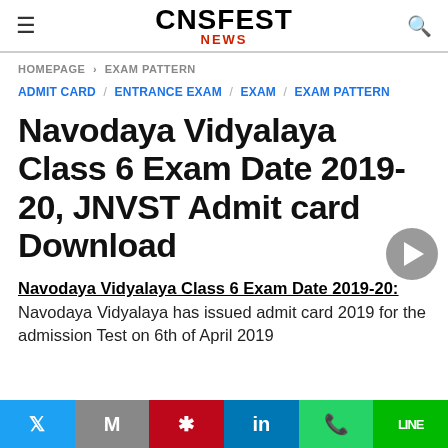CNSFEST NEWS
HOMEPAGE > EXAM PATTERN
ADMIT CARD / ENTRANCE EXAM / EXAM / EXAM PATTERN
Navodaya Vidyalaya Class 6 Exam Date 2019-20, JNVST Admit card Download
Navodaya Vidyalaya Class 6 Exam Date 2019-20: Navodaya Vidyalaya has issued admit card 2019 for the admission Test on 6th of April 2019
Twitter Gmail Pinterest LinkedIn WhatsApp LINE